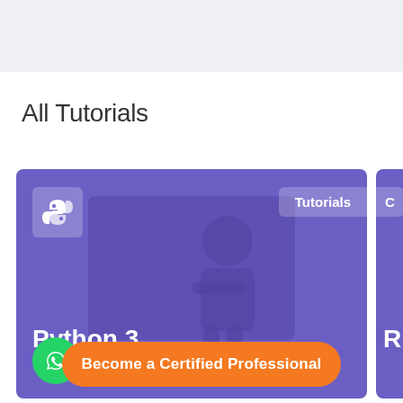[Figure (screenshot): Light blue-grey top banner area of a website]
All Tutorials
[Figure (screenshot): Tutorial card for Python 3 with purple background, Python logo icon, Tutorials tag, person silhouette, and WhatsApp button]
[Figure (screenshot): Partially visible second tutorial card with purple background showing letter R]
Become a Certified Professional